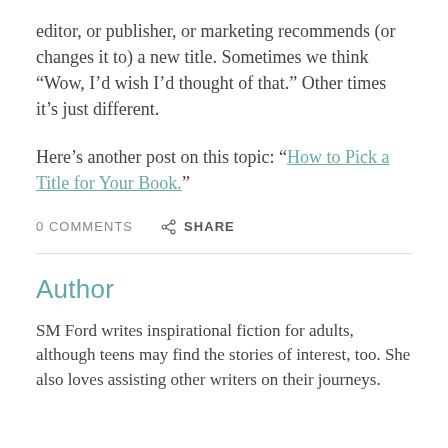editor, or publisher, or marketing recommends (or changes it to) a new title. Sometimes we think “Wow, I’d wish I’d thought of that.” Other times it’s just different.
Here’s another post on this topic: “How to Pick a Title for Your Book.”
0 COMMENTS   🔗  SHARE
Author
SM Ford writes inspirational fiction for adults, although teens may find the stories of interest, too. She also loves assisting other writers on their journeys.